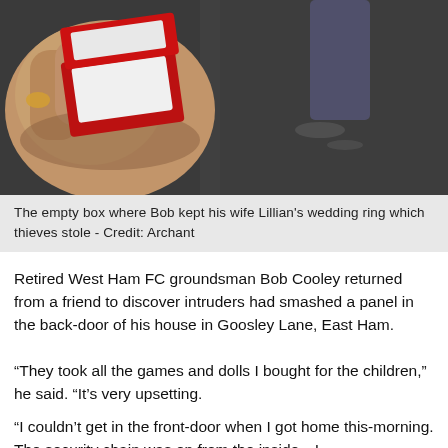[Figure (photo): A man's hand holding an open empty red ring box with white interior lining, wearing a suit jacket]
The empty box where Bob kept his wife Lillian's wedding ring which thieves stole - Credit: Archant
Retired West Ham FC groundsman Bob Cooley returned from a friend to discover intruders had smashed a panel in the back-door of his house in Goosley Lane, East Ham.
“They took all the games and dolls I bought for the children,” he said. “It’s very upsetting.
“I couldn’t get in the front-door when I got home this-morning. The security chain was on from the inside—I